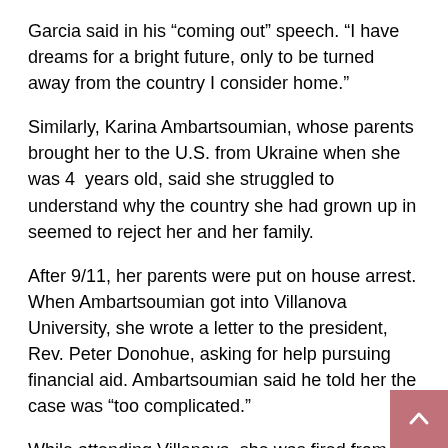Garcia said in his “coming out” speech. “I have dreams for a bright future, only to be turned away from the country I consider home.”
Similarly, Karina Ambartsoumian, whose parents brought her to the U.S. from Ukraine when she was 4 years old, said she struggled to understand why the country she had grown up in seemed to reject her and her family.
After 9/11, her parents were put on house arrest. When Ambartsoumian got into Villanova University, she wrote a letter to the president, Rev. Peter Donohue, asking for help pursuing financial aid. Ambartsoumian said he told her the case was “too complicated.”
While attending Villanova, she was fired from her on-campus job.